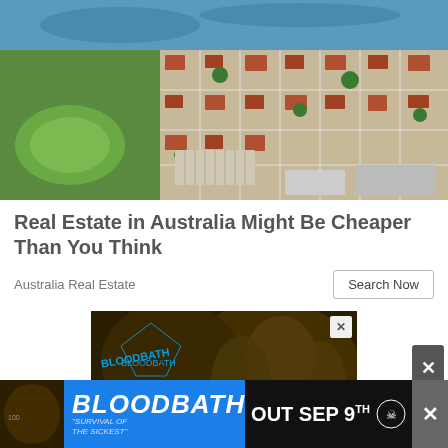[Figure (photo): Aerial view of an Australian suburban city showing a river/harbour, residential neighborhoods with red-roofed houses, green parks with cricket oval, and commercial buildings]
Real Estate in Australia Might Be Cheaper Than You Think
Australia Real Estate
[Figure (illustration): BLOODBATH heavy metal band advertisement banner with dark grotesque artwork showing demonic figures, with an X close button in the top right corner]
[Figure (illustration): Bottom sticky banner ad for BLOODBATH album - Survival of the Sickest - Out Sep 9th, with album artwork thumbnail on the left and an X close button]